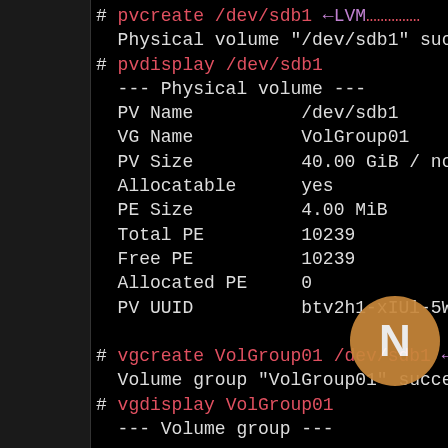# pvcreate /dev/sdb1 ←LVM…
  Physical volume "/dev/sdb1" successfully…
# pvdisplay /dev/sdb1
  --- Physical volume ---
  PV Name          /dev/sdb1
  VG Name          VolGroup01
  PV Size          40.00 GiB / no…
  Allocatable      yes
  PE Size          4.00 MiB
  Total PE         10239
  Free PE          10239
  Allocated PE     0
  PV UUID          btv2h1-xIUl-5W…

# vgcreate VolGroup01 /dev/sdb1 ←LVM…
  Volume group "VolGroup01" successfully…
# vgdisplay VolGroup01
  --- Volume group ---